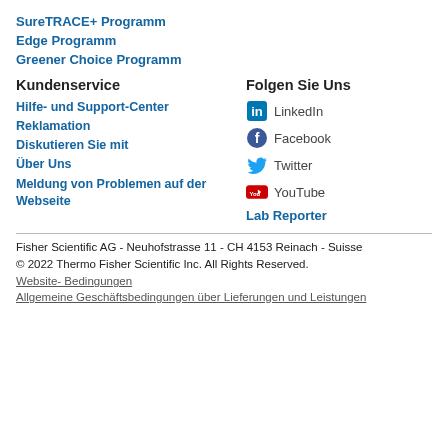SureTRACE+ Programm
Edge Programm
Greener Choice Programm
Kundenservice
Folgen Sie Uns
Hilfe- und Support-Center
LinkedIn
Reklamation
Facebook
Diskutieren Sie mit
Twitter
Über Uns
YouTube
Meldung von Problemen auf der Webseite
Lab Reporter
Fisher Scientific AG - Neuhofstrasse 11 - CH 4153 Reinach - Suisse
© 2022 Thermo Fisher Scientific Inc. All Rights Reserved.
Website- Bedingungen
Allgemeine Geschäftsbedingungen über Lieferungen und Leistungen